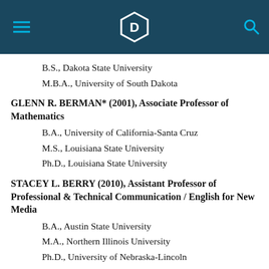Democratic Party Logo Header
B.S., Dakota State University
M.B.A., University of South Dakota
GLENN R. BERMAN* (2001), Associate Professor of Mathematics
B.A., University of California-Santa Cruz
M.S., Louisiana State University
Ph.D., Louisiana State University
STACEY L. BERRY (2010), Assistant Professor of Professional & Technical Communication / English for New Media
B.A., Austin State University
M.A., Northern Illinois University
Ph.D., University of Nebraska-Lincoln